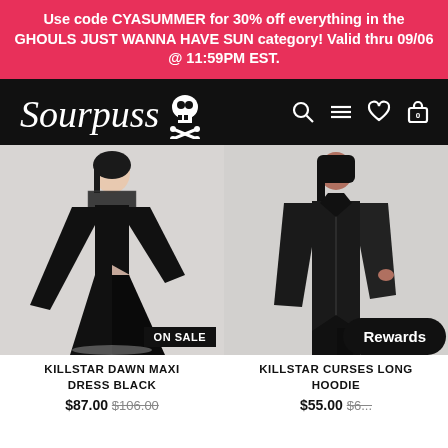Use code CYASUMMER for 30% off everything in the GHOULS JUST WANNA HAVE SUN category! Valid thru 09/06 @ 11:59PM EST.
[Figure (logo): Sourpuss clothing brand logo with skull and crossbones, white text on black background, with navigation icons (search, menu, heart, cart with 0)]
[Figure (photo): Model wearing Killstar Dawn Maxi Dress Black - long black dress with lace neckline and long flared sleeves, with high slit, on white background. ON SALE badge.]
KILLSTAR DAWN MAXI DRESS BLACK
$87.00 $106.00
[Figure (photo): Model wearing Killstar Curses Long Hoodie - black velvet long hoodie/jacket with asymmetric hem, on light background. ON SALE badge.]
KILLSTAR CURSES LONG HOODIE
$55.00 $6...
Rewards